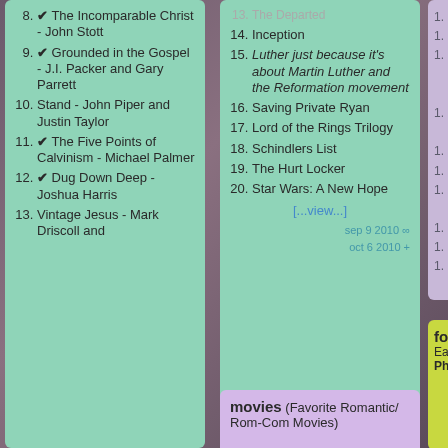8. ✔ The Incomparable Christ - John Stott
9. ✔ Grounded in the Gospel - J.I. Packer and Gary Parrett
10. Stand - John Piper and Justin Taylor
11. ✔ The Five Points of Calvinism - Michael Palmer
12. ✔ Dug Down Deep - Joshua Harris
13. Vintage Jesus - Mark Driscoll and
13. The Departed (partial)
14. Inception
15. Luther just because it's about Martin Luther and the Reformation movement
16. Saving Private Ryan
17. Lord of the Rings Trilogy
18. Schindlers List
19. The Hurt Locker
20. Star Wars: A New Hope
[...view...]
sep 9 2010 ∞
oct 6 2010 +
movies (Favorite Romantic/ Rom-Com Movies)
food
Eater
Phili